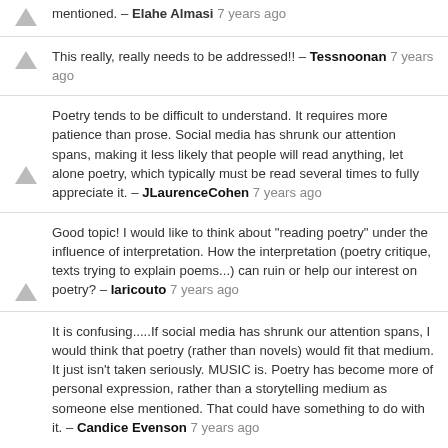mentioned. – Elahe Almasi 7 years ago
This really, really needs to be addressed!! – Tessnoonan 7 years ago
Poetry tends to be difficult to understand. It requires more patience than prose. Social media has shrunk our attention spans, making it less likely that people will read anything, let alone poetry, which typically must be read several times to fully appreciate it. – JLaurenceCohen 7 years ago
Good topic! I would like to think about "reading poetry" under the influence of interpretation. How the interpretation (poetry critique, texts trying to explain poems...) can ruin or help our interest on poetry? – laricouto 7 years ago
It is confusing.....If social media has shrunk our attention spans, I would think that poetry (rather than novels) would fit that medium. It just isn't taken seriously. MUSIC is. Poetry has become more of personal expression, rather than a storytelling medium as someone else mentioned. That could have something to do with it. – Candice Evenson 7 years ago